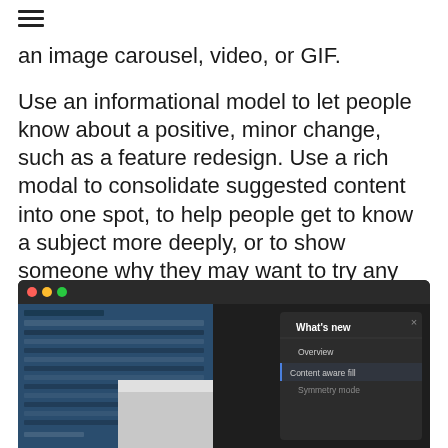≡
an image carousel, video, or GIF.
Use an informational model to let people know about a positive, minor change, such as a feature redesign. Use a rich modal to consolidate suggested content into one spot, to help people get to know a subject more deeply, or to show someone why they may want to try any minor benefits that may feel optional to the basic experience or workflow.
[Figure (screenshot): Screenshot of a macOS application window with a dark theme showing a 'What's new' modal dialog. The modal displays options including 'Overview', 'Content aware fill', and 'Symmetry mode'. The background shows a design/editing application interface.]